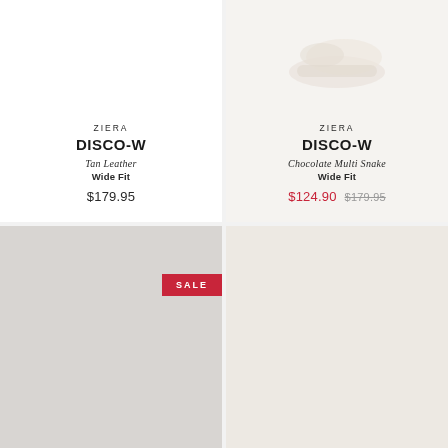[Figure (photo): Product card top-left: Ziera DISCO-W Tan Leather Wide Fit shoe, white background, no shoe image visible]
ZIERA
DISCO-W
Tan Leather
Wide Fit
$179.95
[Figure (photo): Product card top-right: Ziera DISCO-W Chocolate Multi Snake Wide Fit shoe, off-white background, shoe silhouette visible]
ZIERA
DISCO-W
Chocolate Multi Snake
Wide Fit
$124.90  $179.95
[Figure (photo): Product card bottom-left: gray background placeholder with SALE badge, no product details visible]
[Figure (photo): Product card bottom-right: light beige/off-white background placeholder, no product details visible]